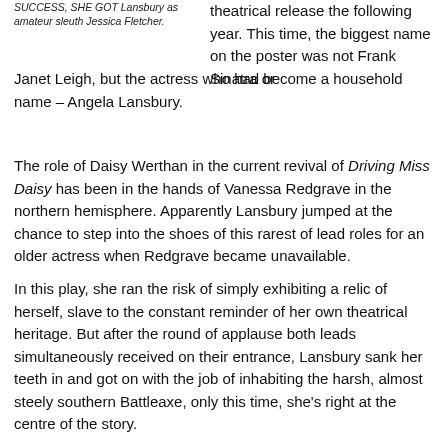SUCCESS, SHE GOT Lansbury as amateur sleuth Jessica Fletcher.
theatrical release the following year. This time, the biggest name on the poster was not Frank Sinatra or Janet Leigh, but the actress who had become a household name – Angela Lansbury.
The role of Daisy Werthan in the current revival of Driving Miss Daisy has been in the hands of Vanessa Redgrave in the northern hemisphere. Apparently Lansbury jumped at the chance to step into the shoes of this rarest of lead roles for an older actress when Redgrave became unavailable.
In this play, she ran the risk of simply exhibiting a relic of herself, slave to the constant reminder of her own theatrical heritage. But after the round of applause both leads simultaneously received on their entrance, Lansbury sank her teeth in and got on with the job of inhabiting the harsh, almost steely southern Battleaxe, only this time, she's right at the centre of the story.